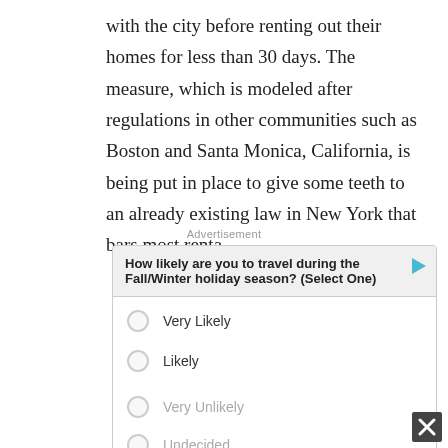with the city before renting out their homes for less than 30 days. The measure, which is modeled after regulations in other communities such as Boston and Santa Monica, California, is being put in place to give some teeth to an already existing law in New York that bars most renta...
Advertisement
[Figure (other): Advertisement widget: survey asking 'How likely are you to travel during the Fall/Winter holiday season? (Select One)' with radio options: Very Likely, Likely, Unlikely, Very Unlikely, Undecided. Has a play/arrow icon in top right. Bottom right has a close (X) button.]